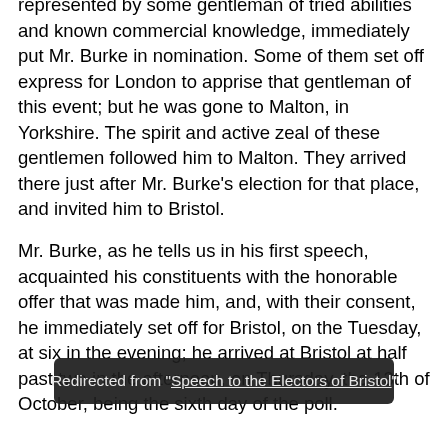represented by some gentleman of tried abilities and known commercial knowledge, immediately put Mr. Burke in nomination. Some of them set off express for London to apprise that gentleman of this event; but he was gone to Malton, in Yorkshire. The spirit and active zeal of these gentlemen followed him to Malton. They arrived there just after Mr. Burke's election for that place, and invited him to Bristol.
Mr. Burke, as he tells us in his first speech, acquainted his constituents with the honorable offer that was made him, and, with their consent, he immediately set off for Bristol, on the Tuesday, at six in the evening; he arrived at Bristol at half past two in the afternoon, on Thursday, the 13th of October, being the sixth day of the poll.
He d... at home, he proceeded to the Guildhall, where he ascended
Redirected from "Speech to the Electors of Bristol"